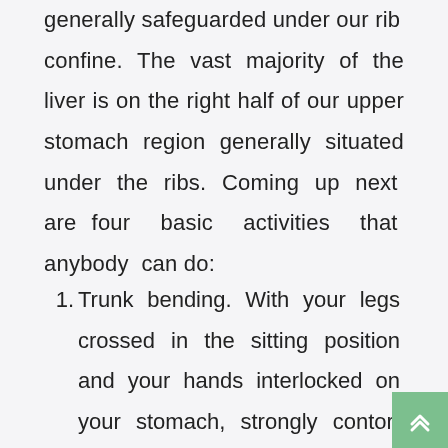generally safeguarded under our rib confine. The vast majority of the liver is on the right half of our upper stomach region generally situated under the ribs. Coming up next are four basic activities that anybody can do:
Trunk bending. With your legs crossed in the sitting position and your hands interlocked on your stomach, strongly contort the whole way to the left, then, at that go now, as far as possible back to the right. Do these